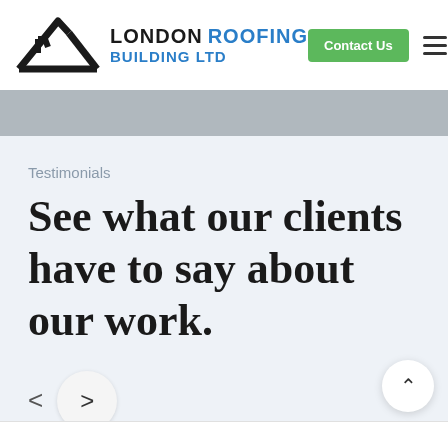[Figure (logo): London Roofing Building Ltd logo with house/roof icon in black, company name in black and blue]
Contact Us
Testimonials
See what our clients have to say about our work.